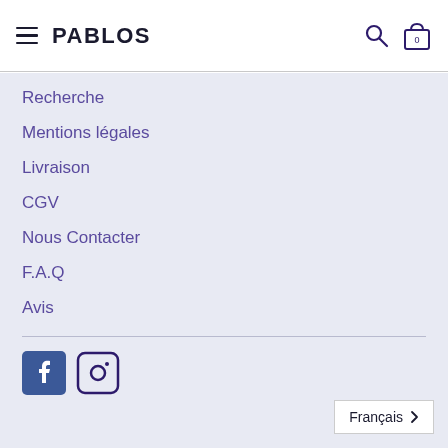PABLOS
Recherche
Mentions légales
Livraison
CGV
Nous Contacter
F.A.Q
Avis
[Figure (logo): Facebook and Instagram social media icons]
Français